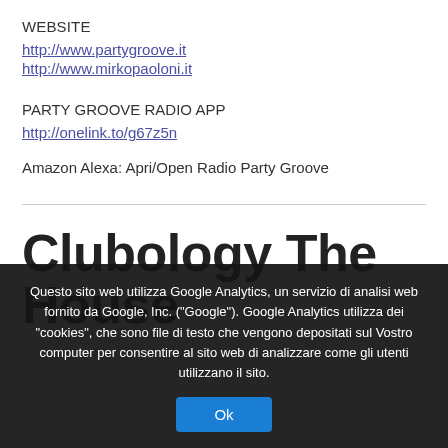WEBSITE
http://www.partygroove.it
http://www.mirkopaoloni.it
PARTY GROOVE RADIO APP
http://onelink.to/g67z5n
Amazon Alexa: Apri/Open Radio Party Groove
Clubology The House
Questo sito web utilizza Google Analytics, un servizio di analisi web fornito da Google, Inc. ("Google"). Google Analytics utilizza dei "cookies", che sono file di testo che vengono depositati sul Vostro computer per consentire al sito web di analizzare come gli utenti utilizzano il sito.